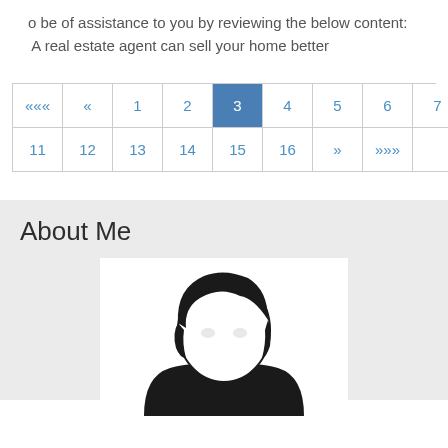o be of assistance to you by reviewing the below content: A real estate agent can sell your home better
| ««« | «« | 1 | 2 | 3 | 4 | 5 | 6 | 7 | 8 | 9 | 10 |
| --- | --- | --- | --- | --- | --- | --- | --- | --- | --- | --- | --- |
| 11 | 12 | 13 | 14 | 15 | 16 | » | »»» |
About Me
[Figure (illustration): Generic silhouette/avatar of a person with dark hair, shown from shoulders up, inside a white box on a grey background.]